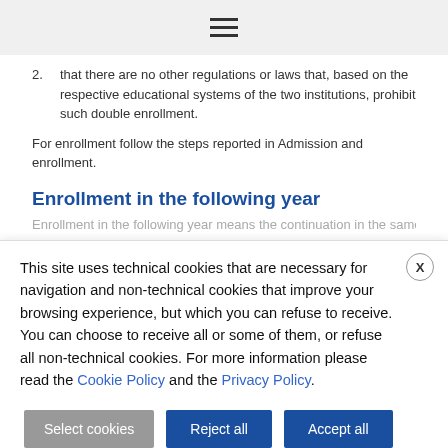≡
2. that there are no other regulations or laws that, based on the respective educational systems of the two institutions, prohibit such double enrollment.
For enrollment follow the steps reported in Admission and enrollment.
Enrollment in the following year
Enrollment in the following year means the continuation in the same
This site uses technical cookies that are necessary for navigation and non-technical cookies that improve your browsing experience, but which you can refuse to receive. You can choose to receive all or some of them, or refuse all non-technical cookies. For more information please read the Cookie Policy and the Privacy Policy.
Select cookies | Reject all | Accept all